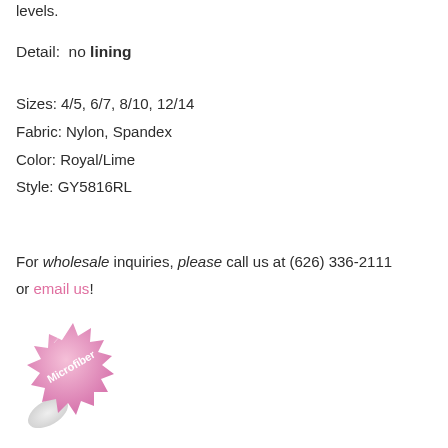levels.
Detail:  no lining
Sizes: 4/5, 6/7, 8/10, 12/14
Fabric: Nylon, Spandex
Color: Royal/Lime
Style: GY5816RL
For wholesale inquiries, please call us at (626) 336-2111 or email us!
[Figure (illustration): A pink microfiber badge/sticker with the word 'Microfiber' written on it, with a peeling corner effect.]